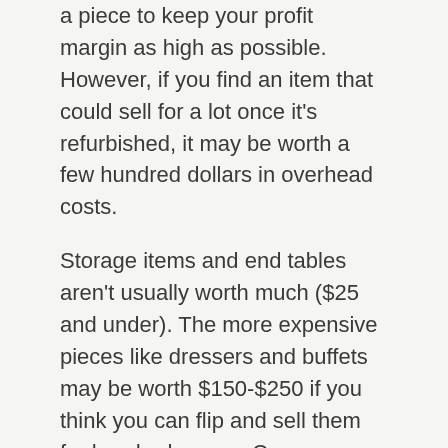a piece to keep your profit margin as high as possible. However, if you find an item that could sell for a lot once it's refurbished, it may be worth a few hundred dollars in overhead costs.
Storage items and end tables aren't usually worth much ($25 and under). The more expensive pieces like dressers and buffets may be worth $150-$250 if you think you can flip and sell them for hundreds more. Come across a dresser that's really falling apart? Odds are it's not worth the money since you won't be able to refurbish it economically.